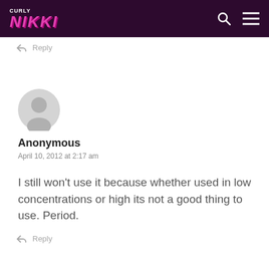CURLY NIKKI
↩ Reply
[Figure (illustration): Gray anonymous user avatar icon — circle head and rounded body silhouette]
Anonymous
April 10, 2012 at 2:17 am
I still won't use it because whether used in low concentrations or high its not a good thing to use. Period.
↩ Reply